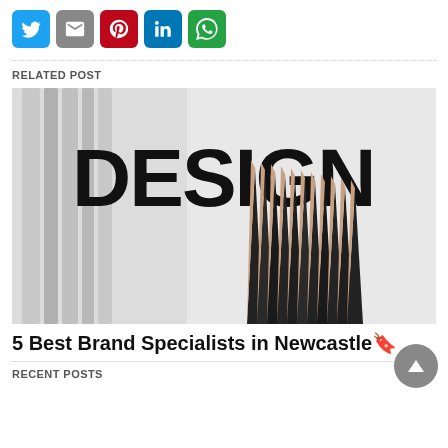[Figure (infographic): Row of social share icon buttons: Twitter (blue), Gmail (grey), Pinterest (red), LinkedIn (blue), WhatsApp (green)]
RELATED POST
[Figure (photo): Photo of black pencils arranged in a fan shape in front of a white background with the word DESIGN in large bold black text]
5 Best Brand Specialists in Newcastle🔖
RECENT POSTS